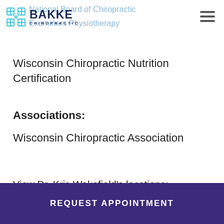Bakke Chiropractic — National Board of Chiropractic Examiners Physiotherapy
Wisconsin Chiropractic Nutrition Certification
Associations:
Wisconsin Chiropractic Association
View Dr. Kris Wakefield's locations:
REQUEST APPOINTMENT